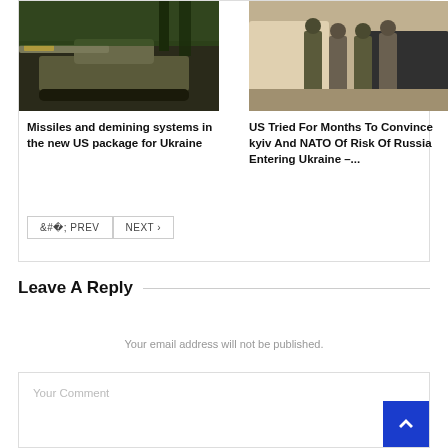[Figure (photo): Military vehicle/tank with equipment in forested area]
Missiles and demining systems in the new US package for Ukraine
[Figure (photo): Soldiers in camouflage gear near a vehicle]
US Tried For Months To Convince kyiv And NATO Of Risk Of Russia Entering Ukraine –...
< PREV   NEXT >
Leave A Reply
Your email address will not be published.
Your Comment